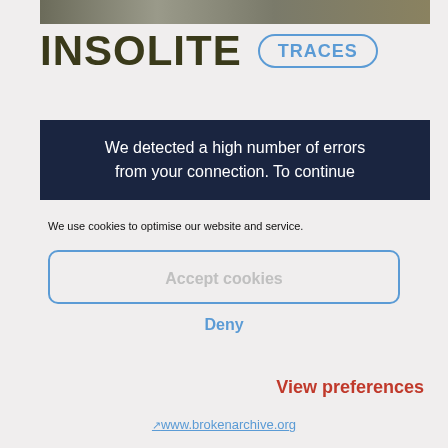[Figure (photo): Partial blurry outdoor photo strip at top of page]
INSOLITE
TRACES
We detected a high number of errors from your connection. To continue
We use cookies to optimise our website and service.
Accept cookies
Deny
View preferences
↗www.brokenarchive.org